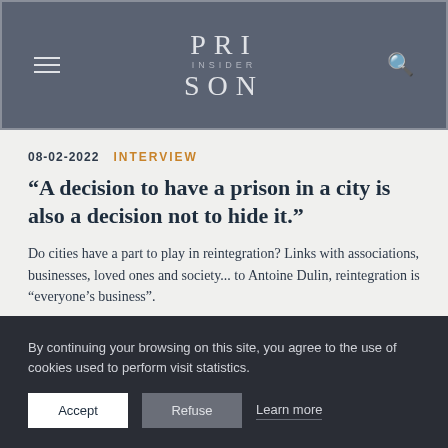PRISON INSIDER
08-02-2022  INTERVIEW
"A decision to have a prison in a city is also a decision not to hide it."
Do cities have a part to play in reintegration? Links with associations, businesses, loved ones and society... to Antoine Dulin, reintegration is “everyone’s business”.
READ MORE
By continuing your browsing on this site, you agree to the use of cookies used to perform visit statistics.
Accept  Refuse  Learn more